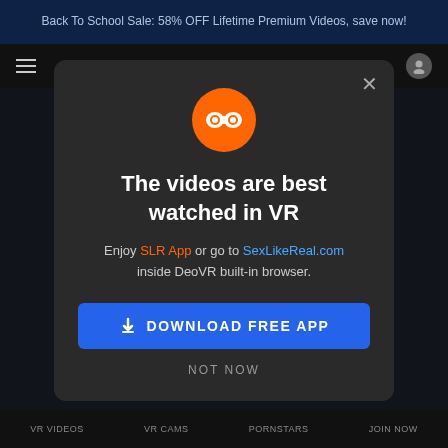Back To School Sale: 58% OFF Lifetime Premium Videos, save now!
[Figure (screenshot): Website navigation bar with hamburger menu and user icon]
[Figure (logo): Orange circle logo with VR goggles mask icon]
The videos are best watched in VR
Enjoy SLR App or go to SexLikeReal.com inside DeoVR built-in browser.
DOWNLOAD FREE APP
NOT NOW
VR VIDEOS  VR CAMS  PORNSTARS  JOIN NOW